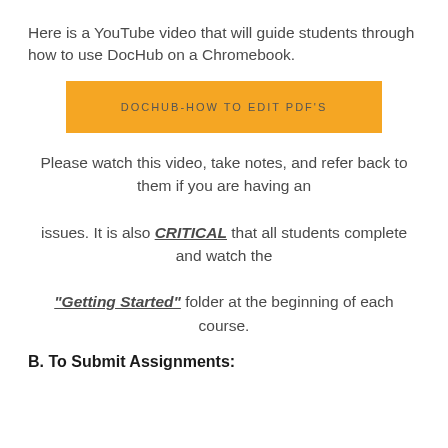Here is a YouTube video that will guide students through how to use DocHub on a Chromebook.
[Figure (other): Yellow button labeled DOCHUB-HOW TO EDIT PDF'S]
Please watch this video, take notes, and refer back to them if you are having an issues. It is also CRITICAL that all students complete and watch the "Getting Started" folder at the beginning of each course.
B. To Submit Assignments: